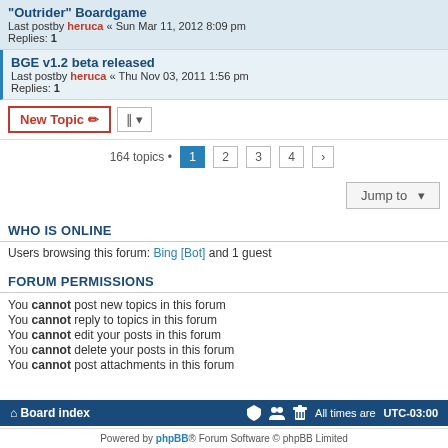"Outrider" Boardgame
Last postby heruca « Sun Mar 11, 2012 8:09 pm
Replies: 1
BGE v1.2 beta released
Last postby heruca « Thu Nov 03, 2011 1:56 pm
Replies: 1
164 topics • 1 2 3 4 >
Jump to
WHO IS ONLINE
Users browsing this forum: Bing [Bot] and 1 guest
FORUM PERMISSIONS
You cannot post new topics in this forum
You cannot reply to topics in this forum
You cannot edit your posts in this forum
You cannot delete your posts in this forum
You cannot post attachments in this forum
Board index · All times are UTC-03:00 · Powered by phpBB® Forum Software © phpBB Limited